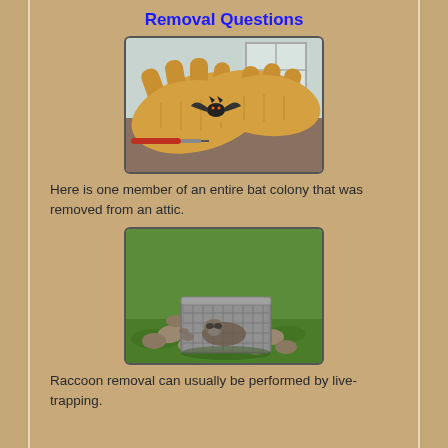Removal Questions
[Figure (photo): Gloved hands holding a small bat captured during bat colony removal from an attic.]
Here is one member of an entire bat colony that was removed from an attic.
[Figure (photo): A wire live-trap cage sitting on grass near rocks, used for raccoon removal.]
Raccoon removal can usually be performed by live-trapping.